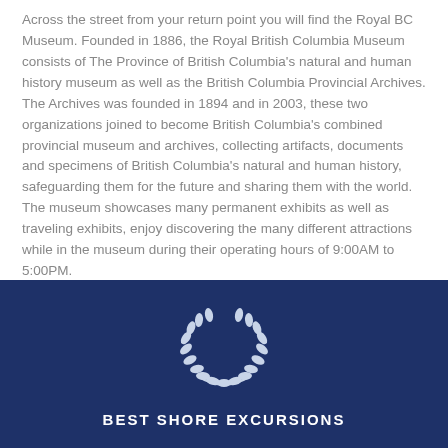Across the street from your return point you will find the Royal BC Museum. Founded in 1886, the Royal British Columbia Museum consists of The Province of British Columbia's natural and human history museum as well as the British Columbia Provincial Archives. The Archives was founded in 1894 and in 2003, these two organizations joined to become British Columbia's combined provincial museum and archives, collecting artifacts, documents and specimens of British Columbia's natural and human history, safeguarding them for the future and sharing them with the world. The museum showcases many permanent exhibits as well as traveling exhibits, enjoy discovering the many different attractions while in the museum during their operating hours of 9:00AM to 5:00PM.
[Figure (logo): Laurel wreath icon in white on dark navy blue background]
BEST SHORE EXCURSIONS